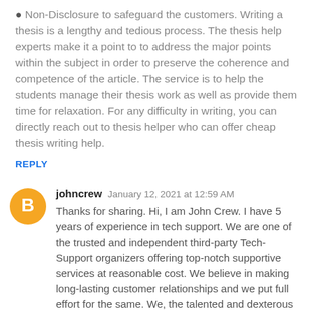Non-Disclosure to safeguard the customers. Writing a thesis is a lengthy and tedious process. The thesis help experts make it a point to to address the major points within the subject in order to preserve the coherence and competence of the article. The service is to help the students manage their thesis work as well as provide them time for relaxation. For any difficulty in writing, you can directly reach out to thesis helper who can offer cheap thesis writing help.
REPLY
johncrew  January 12, 2021 at 12:59 AM
Thanks for sharing. Hi, I am John Crew. I have 5 years of experience in tech support. We are one of the trusted and independent third-party Tech-Support organizers offering top-notch supportive services at reasonable cost. We believe in making long-lasting customer relationships and we put full effort for the same. We, the talented and dexterous techies are having responsibility to serve satisfaction